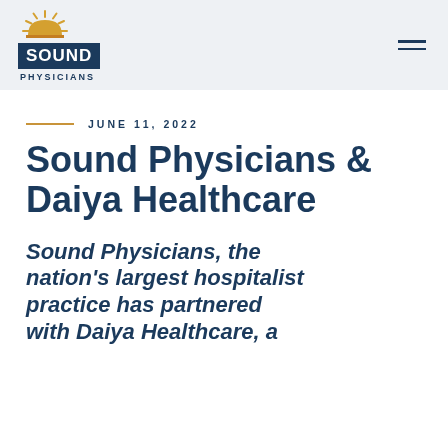Sound Physicians
JUNE 11, 2022
Sound Physicians & Daiya Healthcare
Sound Physicians, the nation's largest hospitalist practice has partnered with Daiya Healthcare, a